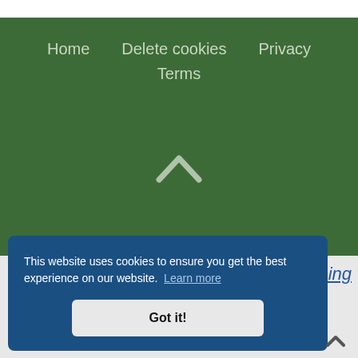Home   Delete cookies   Privacy   Terms
[Figure (other): Up chevron/caret arrow icon in light gray on green background]
This website uses cookies to ensure you get the best experience on our website. Learn more
Got it!
ening